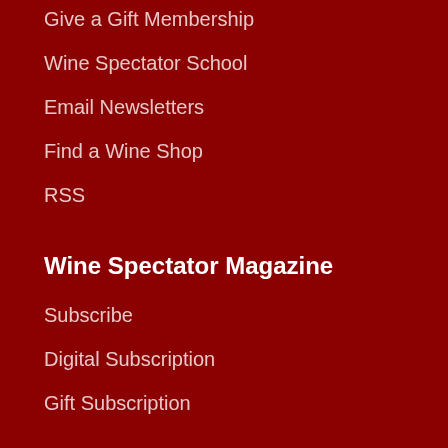Give a Gift Membership
Wine Spectator School
Email Newsletters
Find a Wine Shop
RSS
Wine Spectator Magazine
Subscribe
Digital Subscription
Gift Subscription
Buy Back Issues
Issue Archives
Events